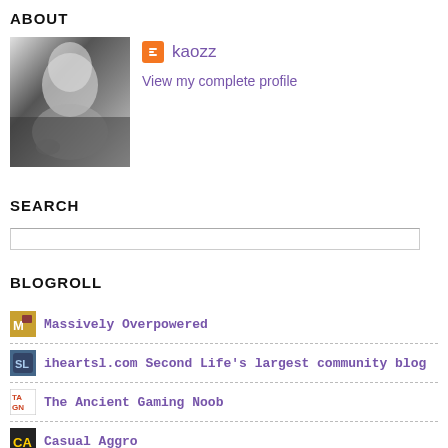ABOUT
[Figure (photo): Black and white photo of a person, used as profile image]
kaozz
View my complete profile
SEARCH
BLOGROLL
Massively Overpowered
iheartsl.com Second Life's largest community blog
The Ancient Gaming Noob
Casual Aggro
Tales of the Aggronaut
Bio Break
Inventory Full